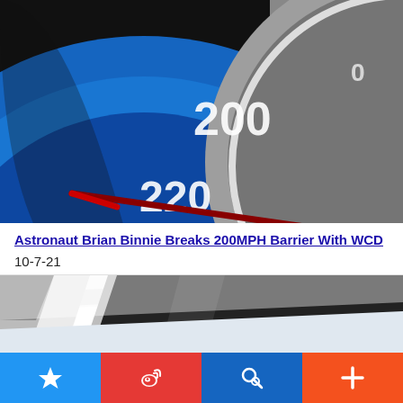[Figure (photo): Close-up photo of a car speedometer showing 200 and 220 mph markings on a blue dial, with a red needle visible, and a screw/bolt in the center of the gauge.]
Astronaut Brian Binnie Breaks 200MPH Barrier With WCD
10-7-21
[Figure (photo): Close-up photo of a white and dark car body panel or hood with racing stripes, partially cropped.]
[Figure (screenshot): Mobile app toolbar with four buttons: blue star/bookmark button, red Weibo share button, dark blue search button, and orange plus/more button.]